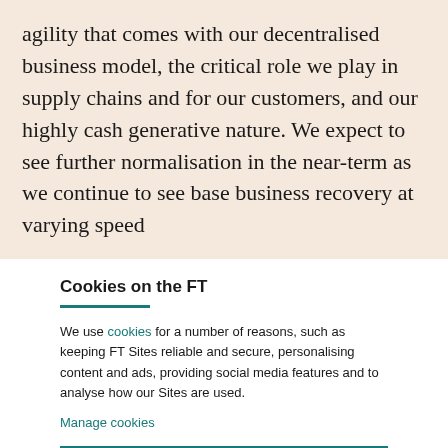agility that comes with our decentralised business model, the critical role we play in supply chains and for our customers, and our highly cash generative nature. We expect to see further normalisation in the near-term as we continue to see base business recovery at varying speed
Cookies on the FT
We use cookies for a number of reasons, such as keeping FT Sites reliable and secure, personalising content and ads, providing social media features and to analyse how our Sites are used.
Manage cookies
Accept & continue